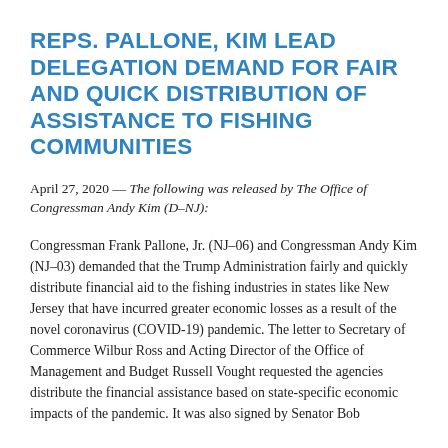REPS. PALLONE, KIM LEAD DELEGATION DEMAND FOR FAIR AND QUICK DISTRIBUTION OF ASSISTANCE TO FISHING COMMUNITIES
April 27, 2020 — The following was released by The Office of Congressman Andy Kim (D–NJ):
Congressman Frank Pallone, Jr. (NJ–06) and Congressman Andy Kim (NJ–03) demanded that the Trump Administration fairly and quickly distribute financial aid to the fishing industries in states like New Jersey that have incurred greater economic losses as a result of the novel coronavirus (COVID-19) pandemic. The letter to Secretary of Commerce Wilbur Ross and Acting Director of the Office of Management and Budget Russell Vought requested the agencies distribute the financial assistance based on state-specific economic impacts of the pandemic. It was also signed by Senator Bob